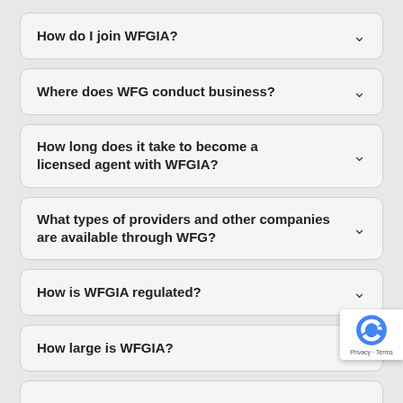How do I join WFGIA?
Where does WFG conduct business?
How long does it take to become a licensed agent with WFGIA?
What types of providers and other companies are available through WFG?
How is WFGIA regulated?
How large is WFGIA?
Who owns WFGIA?